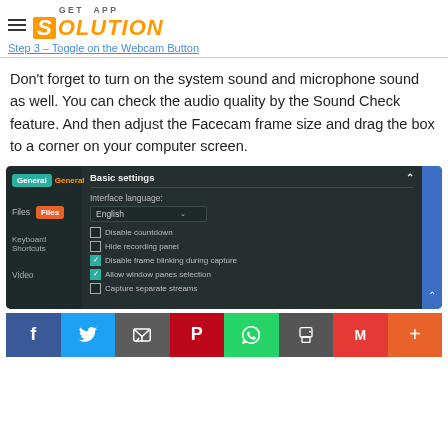GET APP SOLUTION
Step 3 – Toggle on the Webcam Button
Don't forget to turn on the system sound and microphone sound as well. You can check the audio quality by the Sound Check feature. And then adjust the Facecam frame size and drag the box to a corner on your computer screen.
[Figure (screenshot): App settings screenshot showing General and Files tabs in sidebar, with Basic settings panel open showing Interface language (English), Disable countdown (unchecked), Hide recording panel (unchecked), Disable frame blinking during capture (checked), Allow window panes selection (checked), Capture separate streams (unchecked)]
[Figure (infographic): Social sharing bar with Facebook, Twitter, Email, Pinterest, WhatsApp, Print, Gmail, and Plus buttons]